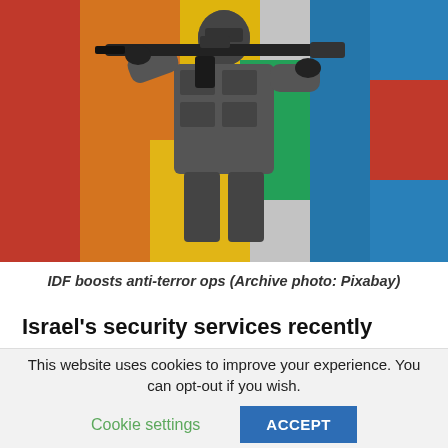[Figure (photo): A soldier in tactical gear holding a rifle, positioned in front of colorful graffiti-covered wall. Archive photo from Pixabay showing IDF anti-terror operations.]
IDF boosts anti-terror ops (Archive photo: Pixabay)
Israel's security services recently foiled some 30 attacks by West Bank cells taking their orders from Gaza terror groups. The thwarted plots included shootings and abductions of civilians and soldiers.
This website uses cookies to improve your experience. You can opt-out if you wish.  Cookie settings  ACCEPT